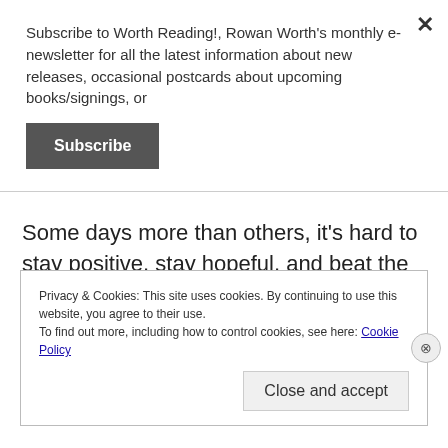Subscribe to Worth Reading!, Rowan Worth's monthly e-newsletter for all the latest information about new releases, occasional postcards about upcoming books/signings, or
Subscribe
Some days more than others, it's hard to stay positive, stay hopeful, and beat the paranoia back.
REPORT THIS AD
Privacy & Cookies: This site uses cookies. By continuing to use this website, you agree to their use.
To find out more, including how to control cookies, see here: Cookie Policy
Close and accept